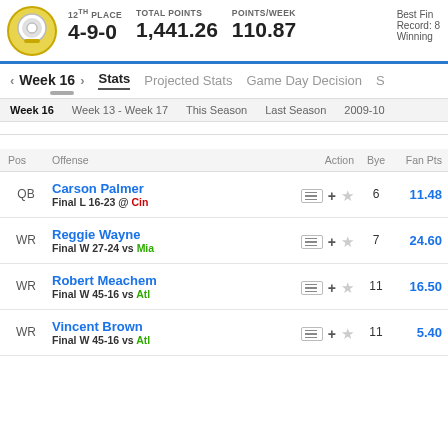12TH PLACE  4-9-0   TOTAL POINTS  1,441.26   POINTS/WEEK  110.87   Best Fin  Record:  Winning
< Week 16 >   Stats   Projected Stats   Game Day Decision   S
Week 16   Week 13 - Week 17   This Season   Last Season   2009-10
| Pos | Offense | Action | Bye | Fan Pts |
| --- | --- | --- | --- | --- |
| QB | Carson Palmer
Final L 16-23 @ Cin |  | 6 | 11.48 |
| WR | Reggie Wayne
Final W 27-24 vs Mia |  | 7 | 24.60 |
| WR | Robert Meachem
Final W 45-16 vs Atl |  | 11 | 16.50 |
| WR | Vincent Brown
Final W 45-16 vs Atl |  | 11 | 5.40 |